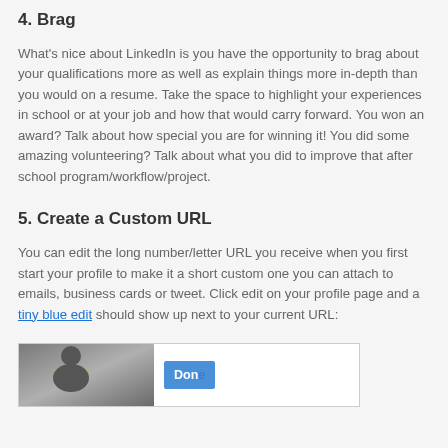4. Brag
What's nice about LinkedIn is you have the opportunity to brag about your qualifications more as well as explain things more in-depth than you would on a resume. Take the space to highlight your experiences in school or at your job and how that would carry forward. You won an award? Talk about how special you are for winning it! You did some amazing volunteering? Talk about what you did to improve that after school program/workflow/project.
5. Create a Custom URL
You can edit the long number/letter URL you receive when you first start your profile to make it a short custom one you can attach to emails, business cards or tweet. Click edit on your profile page and a tiny blue edit should show up next to your current URL:
[Figure (screenshot): Screenshot showing a LinkedIn profile page with a profile photo and a blue 'Done' button visible on the right side.]